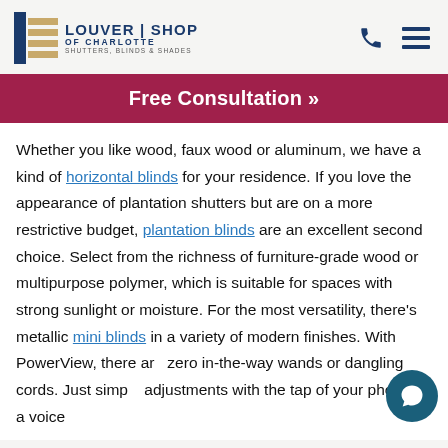Louver Shop of Charlotte — Shutters, Blinds & Shades
Free Consultation »
Whether you like wood, faux wood or aluminum, we have a kind of horizontal blinds for your residence. If you love the appearance of plantation shutters but are on a more restrictive budget, plantation blinds are an excellent second choice. Select from the richness of furniture-grade wood or multipurpose polymer, which is suitable for spaces with strong sunlight or moisture. For the most versatility, there's metallic mini blinds in a variety of modern finishes. With PowerView, there are zero in-the-way wands or dangling cords. Just simple adjustments with the tap of your phone or a voice